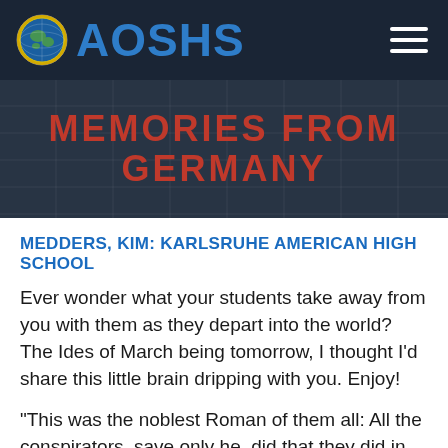AOSHS
MEMORIES FROM GERMANY
MEDDERS, KIM: KARLSRUHE AMERICAN HIGH SCHOOL
Ever wonder what your students take away from you with them as they depart into the world? The Ides of March being tomorrow, I thought I'd share this little brain dripping with you. Enjoy!
“This was the noblest Roman of them all: All the conspirators, save only he, did that they did in envy of